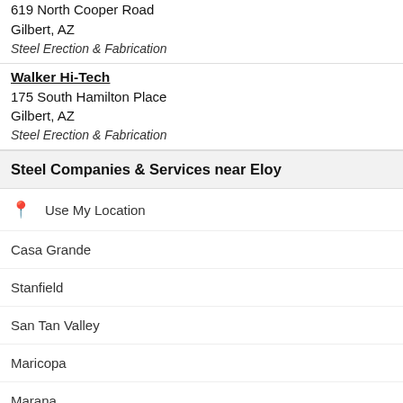619 North Cooper Road
Gilbert, AZ
Steel Erection & Fabrication
Walker Hi-Tech
175 South Hamilton Place
Gilbert, AZ
Steel Erection & Fabrication
Steel Companies & Services near Eloy
Use My Location
Casa Grande
Stanfield
San Tan Valley
Maricopa
Marana